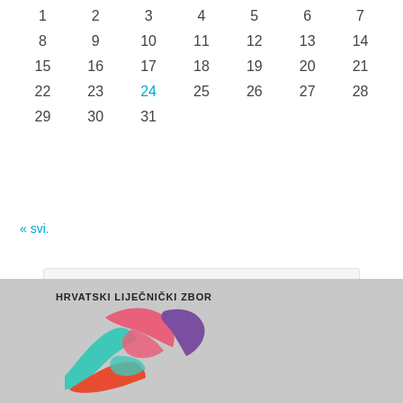| 1 | 2 | 3 | 4 | 5 | 6 | 7 |
| 8 | 9 | 10 | 11 | 12 | 13 | 14 |
| 15 | 16 | 17 | 18 | 19 | 20 | 21 |
| 22 | 23 | 24 | 25 | 26 | 27 | 28 |
| 29 | 30 | 31 |  |  |  |  |
« svi.
[Figure (logo): RSS feed icon orange square with white signal waves]
ESMO RSS
[Figure (logo): RSS feed icon orange square with white signal waves]
NEPOZNATI KANAL
HRVATSKI LIJEČNIČKI ZBOR
[Figure (logo): Colorful overlapping ribbon/arrow logo in teal, pink, orange, purple colors for Hrvatski Liječnički Zbor]